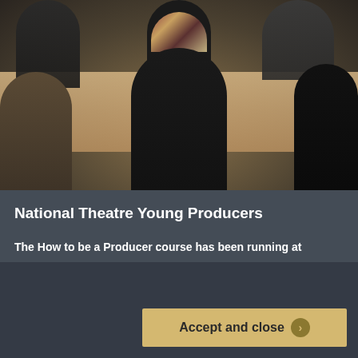[Figure (photo): Group of young people sitting around a large table in a meeting or workshop setting, viewed from behind a central figure with long braided hair and a patterned headscarf. Several cups and a soda can are visible on the table.]
National Theatre Young Producers
The How to be a Producer course has been running at
This site uses cookies. Read what they do here. If you continue to use this site we'll assume you're happy with this.
Accept and close